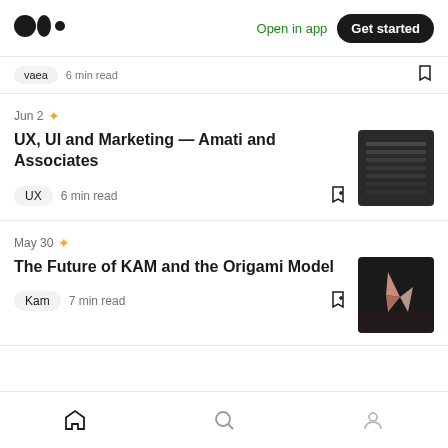Medium logo | Open in app | Get started
vaea  6 min read
Jun 2 ✦
UX, UI and Marketing — Amati and Associates
UX  6 min read
May 30 ✦
The Future of KAM and the Origami Model
Kam  7 min read